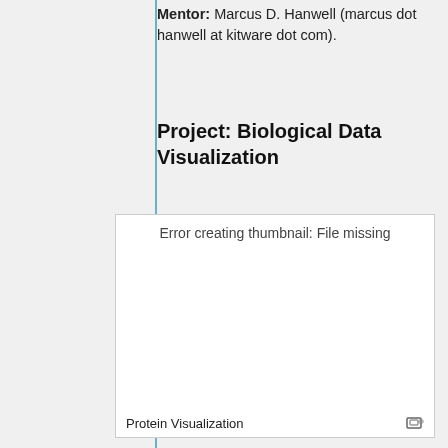Mentor: Marcus D. Hanwell (marcus dot hanwell at kitware dot com).
Project: Biological Data Visualization
[Figure (other): Error creating thumbnail: File missing. Empty white box with caption 'Protein Visualization']
Protein Visualization